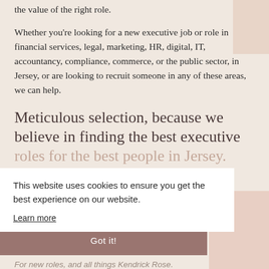the value of the right role.
Whether you're looking for a new executive job or role in financial services, legal, marketing, HR, digital, IT, accountancy, compliance, commerce, or the public sector, in Jersey, or are looking to recruit someone in any of these areas, we can help.
Meticulous selection, because we believe in finding the best executive roles for the best people in Jersey.
This website uses cookies to ensure you get the best experience on our website.
Learn more
Stay In Touch
Got it!
For new roles, and all things Kendrick Rose.